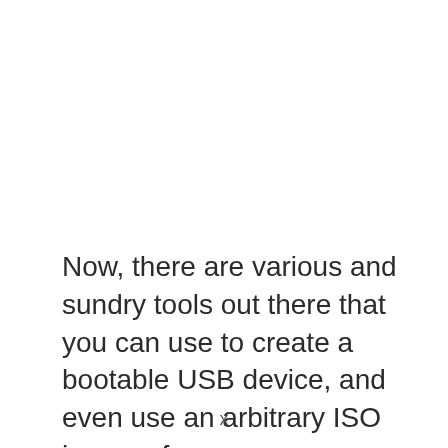Now, there are various and sundry tools out there that you can use to create a bootable USB device, and even use an arbitrary ISO image of a
x